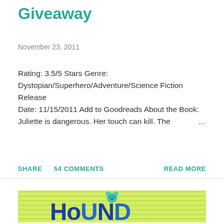Giveaway
November 23, 2011
Rating: 3.5/5 Stars Genre: Dystopian/Superhero/Adventure/Science Fiction Release Date: 11/15/2011 Add to Goodreads About the Book: Juliette is dangerous. Her touch can kill. The ...
SHARE   54 COMMENTS   READ MORE
[Figure (illustration): Book cover or banner image with light green and yellow horizontal stripes background, a teal/cyan bear icon at the top center, and bold blue text reading 'HoUND' in large stylized letters.]